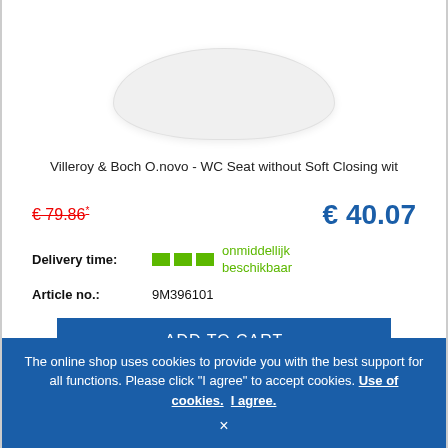[Figure (photo): White toilet seat product photo on white background]
Villeroy & Boch O.novo - WC Seat without Soft Closing wit
€ 79.86* € 40.07
Delivery time: onmiddellijk beschikbaar
Article no.: 9M396101
ADD TO CART
The online shop uses cookies to provide you with the best support for all functions. Please click "I agree" to accept cookies. Use of cookies. I agree. ×